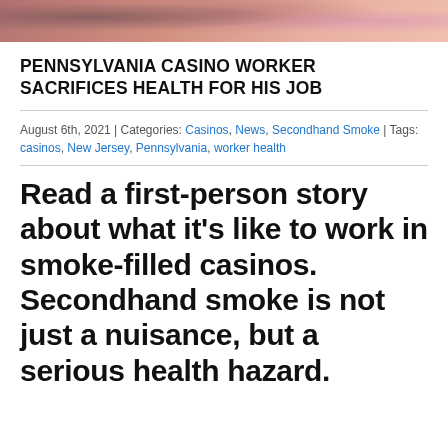[Figure (photo): Photo strip at top of page showing people, cropped to a narrow horizontal band]
PENNSYLVANIA CASINO WORKER SACRIFICES HEALTH FOR HIS JOB
August 6th, 2021 | Categories: Casinos, News, Secondhand Smoke | Tags: casinos, New Jersey, Pennsylvania, worker health
Read a first-person story about what it’s like to work in smoke-filled casinos. Secondhand smoke is not just a nuisance, but a serious health hazard.